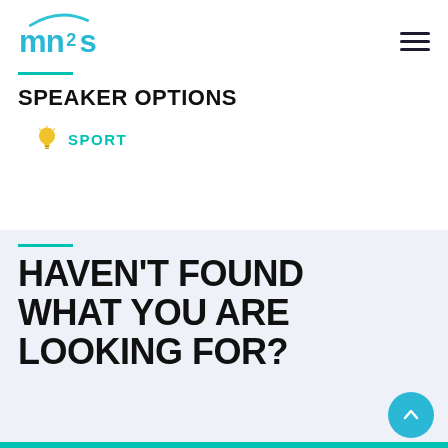[Figure (logo): mn2s logo in teal/blue color with circular swoosh above]
[Figure (other): Hamburger menu icon with three horizontal lines]
SPEAKER OPTIONS
SPORT
HAVEN'T FOUND WHAT YOU ARE LOOKING FOR?